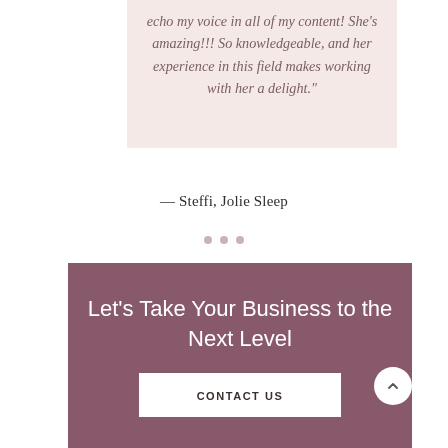echo my voice in all of my content! She's amazing!!! So knowledgeable, and her experience in this field makes working with her a delight."
— Steffi, Jolie Sleep
Let's Take Your Business to the Next Level
CONTACT US